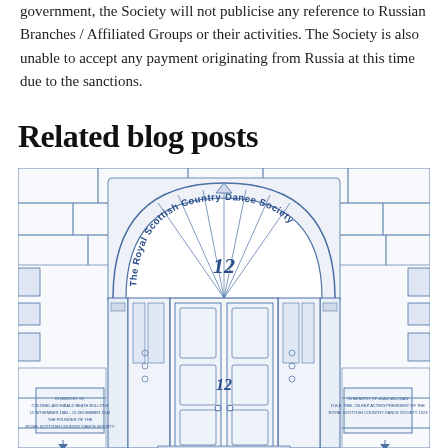government, the Society will not publicise any reference to Russian Branches / Affiliated Groups or their activities. The Society is also unable to accept any payment originating from Russia at this time due to the sanctions.
Related blog posts
[Figure (illustration): Architectural illustration of a Georgian doorway with fanlight arch. The arch contains the text 'The Royal Scottish Country Dance Society' in curved blue text. The number '12' appears in the fanlight and on the door. Two decorative plaques flank the door at the bottom. The illustration is rendered in blue line art style showing stonework, columns, sidelights, and a panelled double door.]